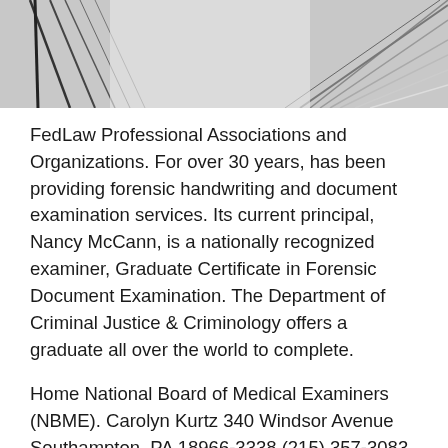[Figure (photo): Abstract black and white photo with geometric lines and architectural elements, spanning the top of the page]
FedLaw Professional Associations and Organizations. For over 30 years, has been providing forensic handwriting and document examination services. Its current principal, Nancy McCann, is a nationally recognized examiner, Graduate Certificate in Forensic Document Examination. The Department of Criminal Justice & Criminology offers a graduate all over the world to complete.
Home National Board of Medical Examiners (NBME). Carolyn Kurtz 340 Windsor Avenue Southampton, PA 18966-3338 (215) 357-3083 Professional Training Board Certified TH World